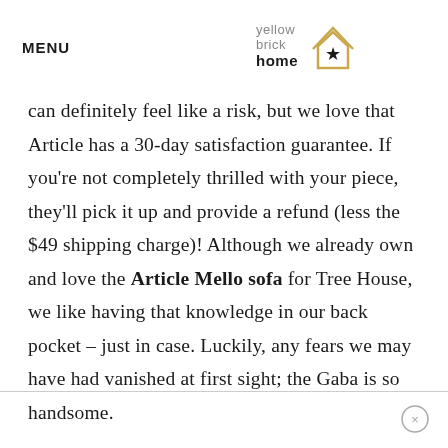MENU | yellow brick home (logo)
can definitely feel like a risk, but we love that Article has a 30-day satisfaction guarantee. If you're not completely thrilled with your piece, they'll pick it up and provide a refund (less the $49 shipping charge)! Although we already own and love the Article Mello sofa for Tree House, we like having that knowledge in our back pocket – just in case. Luckily, any fears we may have had vanished at first sight; the Gaba is so handsome.